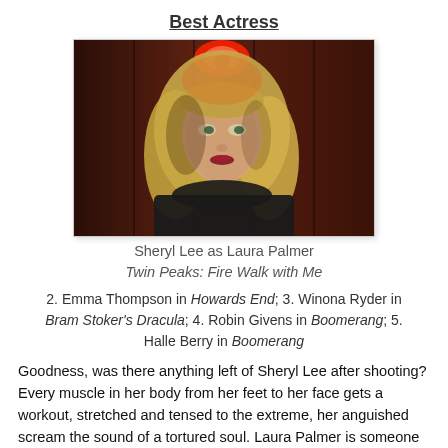Best Actress
[Figure (photo): Sheryl Lee as Laura Palmer in Twin Peaks: Fire Walk with Me — a blonde woman in a dark setting with a red light above her head]
Sheryl Lee as Laura Palmer
Twin Peaks: Fire Walk with Me
2. Emma Thompson in Howards End; 3. Winona Ryder in Bram Stoker's Dracula; 4. Robin Givens in Boomerang; 5. Halle Berry in Boomerang
Goodness, was there anything left of Sheryl Lee after shooting? Every muscle in her body from her feet to her face gets a workout, stretched and tensed to the extreme, her anguished scream the sound of a tortured soul. Laura Palmer is someone who's been surviving, but the strain is